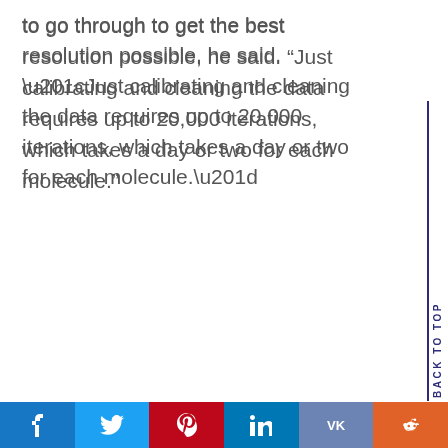to go through to get the best resolution possible, he said. “Just calibrating and cleaning the data requires up to 20,000 iterations, which takes a day or two for each molecule.”
BACK TO TOP